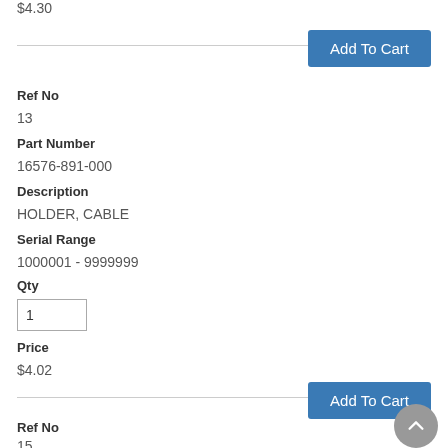$4.30
Add To Cart
Ref No
13
Part Number
16576-891-000
Description
HOLDER, CABLE
Serial Range
1000001 - 9999999
Qty
1
Price
$4.02
Add To Cart
Ref No
15